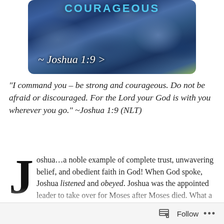[Figure (photo): Photograph of rocky landscape with blue-toned rocks and green foliage, overlaid with text 'COURAGEOUS' at top and 'Joshua 1:9' in cursive at bottom left]
“I command you – be strong and courageous. Do not be afraid or discouraged. For the Lord your God is with you wherever you go.” ~Joshua 1:9 (NLT)
Joshua…a noble example of complete trust, unwavering belief, and obedient faith in God! When God spoke, Joshua listened and obeyed. Joshua was the appointed leader to take over for Moses after Moses died. What a difficult position to fill because in all honesty, who would ever want
Follow •••